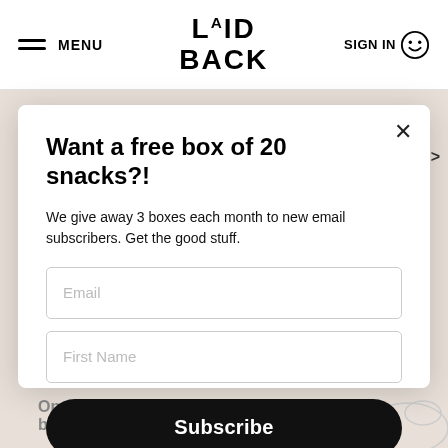MENU | LAID BACK | SIGN IN
Want a free box of 20 snacks?!
We give away 3 boxes each month to new email subscribers. Get the good stuff.
Email
First Name
Subscribe
No, thanks